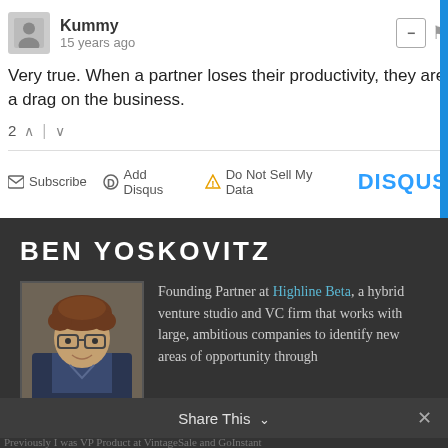Kummy
15 years ago
Very true. When a partner loses their productivity, they are a drag on the business.
2
Subscribe   Add Disqus   Do Not Sell My Data   DISQUS
BEN YOSKOVITZ
Founding Partner at Highline Beta, a hybrid venture studio and VC firm that works with large, ambitious companies to identify new areas of opportunity through internal and external innovation.
[Figure (photo): Headshot of Ben Yoskovitz, a man with curly hair and glasses wearing a dark sweater]
Share This
Previously I was VP Product at VintageSale and GoInstant